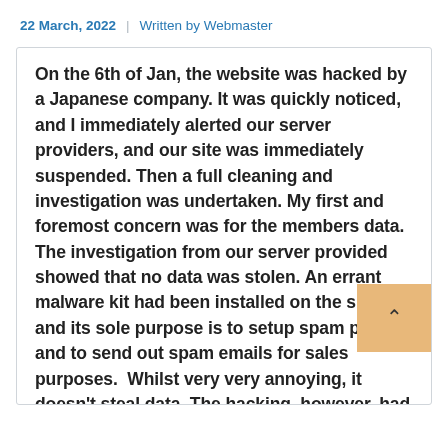22 March, 2022  |  Written by Webmaster
On the 6th of Jan, the website was hacked by a Japanese company. It was quickly noticed, and I immediately alerted our server providers, and our site was immediately suspended. Then a full cleaning and investigation was undertaken. My first and foremost concern was for the members data. The investigation from our server provided showed that no data was stolen. An errant malware kit had been installed on the site, and its sole purpose is to setup spam pages and to send out spam emails for sales purposes.  Whilst very very annoying, it doesn't steal data. The hacking, however, had monkeyed around with the website's foundational code which was causing lots of bugs. So the site has now been moved to a newer fresh shared hosting server.